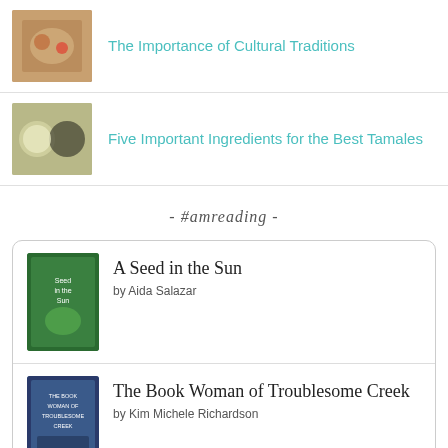[Figure (photo): Thumbnail photo of food for article about cultural traditions]
The Importance of Cultural Traditions
[Figure (photo): Thumbnail photo of tamale ingredients in bowls]
Five Important Ingredients for the Best Tamales
- #amreading -
[Figure (photo): Book cover of A Seed in the Sun]
A Seed in the Sun
by Aida Salazar
[Figure (photo): Book cover of The Book Woman of Troublesome Creek]
The Book Woman of Troublesome Creek
by Kim Michele Richardson